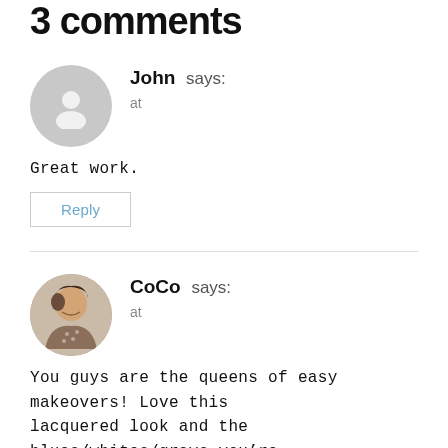3 comments
[Figure (illustration): Gray circular avatar placeholder with silhouette icon for user John]
John says:
at
Great work.
Reply
[Figure (photo): Circular profile photo of CoCo, a woman looking down, wearing a patterned shirt]
CoCo says:
at
You guys are the queens of easy makeovers! Love this lacquered look and the blues/whites/grays you’re using throughout the house. Hope your weekend is a